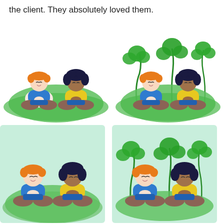the client. They absolutely loved them.
[Figure (illustration): Two children sitting in meditation pose on green grass. Left child has orange hair and blue shirt, right child has dark curly hair and yellow shirt. White background, no trees.]
[Figure (illustration): Same two children meditating on green grass with decorative clover/leaf plants in background. White background.]
[Figure (illustration): Same two children meditating on green grass. Light teal/green solid background rectangle.]
[Figure (illustration): Same two children meditating on green grass with decorative clover/leaf plants in background. Light teal/green solid background rectangle.]